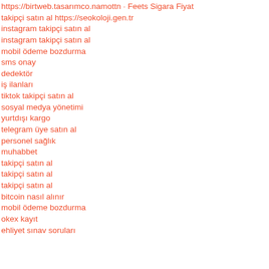https://birtweb.com/... Fiyat (partial/truncated)
takipçi satın al https://seokoloji.gen.tr
instagram takipçi satın al
instagram takipçi satın al
mobil ödeme bozdurma
sms onay
dedektör
iş ilanları
tiktok takipçi satın al
sosyal medya yönetimi
yurtdışı kargo
telegram üye satın al
personel sağlık
muhabbet
takipçi satın al
takipçi satın al
takipçi satın al
bitcoin nasıl alınır
mobil ödeme bozdurma
okex kayıt
ehliyet sınav soruları